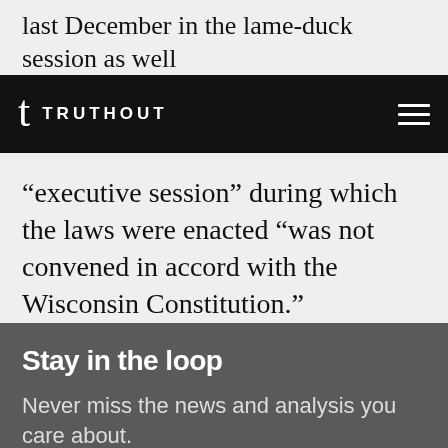last December in the lame-duck session as well
t TRUTHOUT
“executive session” during which the laws were enacted “was not convened in accord with the Wisconsin Constitution.”
Stay in the loop
Never miss the news and analysis you care about.
name@email.com  SUBSCRIBE